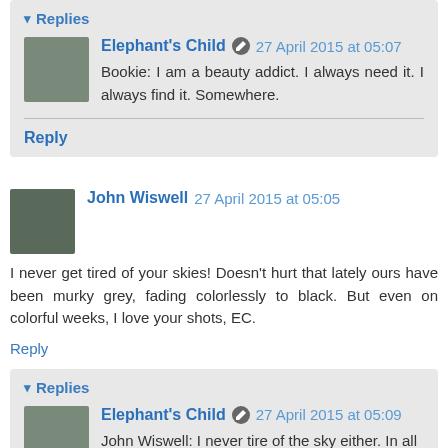Replies
Elephant's Child  27 April 2015 at 05:07
Bookie: I am a beauty addict. I always need it. I always find it. Somewhere.
Reply
John Wiswell  27 April 2015 at 05:05
I never get tired of your skies! Doesn't hurt that lately ours have been murky grey, fading colorlessly to black. But even on colorful weeks, I love your shots, EC.
Reply
Replies
Elephant's Child  27 April 2015 at 05:09
John Wiswell: I never tire of the sky either. In all